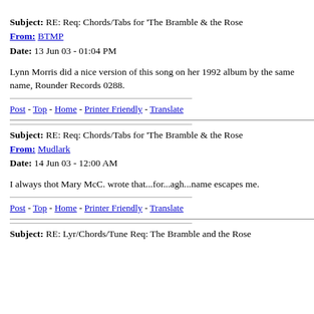Subject: RE: Req: Chords/Tabs for 'The Bramble & the Rose
From: BTMP
Date: 13 Jun 03 - 01:04 PM
Lynn Morris did a nice version of this song on her 1992 album by the same name, Rounder Records 0288.
Post - Top - Home - Printer Friendly - Translate
Subject: RE: Req: Chords/Tabs for 'The Bramble & the Rose
From: Mudlark
Date: 14 Jun 03 - 12:00 AM
I always thot Mary McC. wrote that...for...agh...name escapes me.
Post - Top - Home - Printer Friendly - Translate
Subject: RE: Lyr/Chords/Tune Req: The Bramble and the Rose